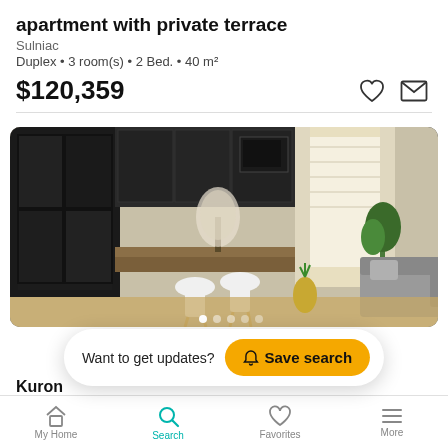apartment with private terrace
Sulniac
Duplex • 3 room(s) • 2 Bed. • 40 m²
$120,359
[Figure (photo): Interior photo of a modern apartment showing kitchen with dark cabinets, dining table with white chairs, and living area with grey sofa and bright windows]
Kuron
Couëron
Want to get updates?  Save search
My Home   Search   Favorites   More